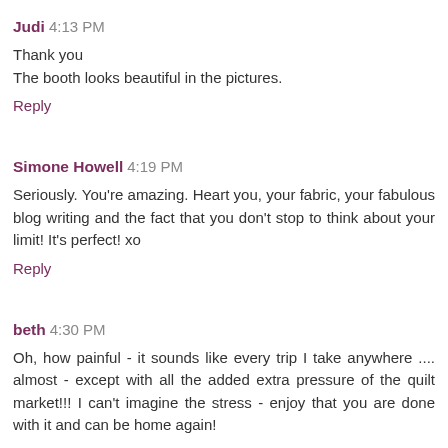Judi 4:13 PM
Thank you
The booth looks beautiful in the pictures.
Reply
Simone Howell 4:19 PM
Seriously. You're amazing. Heart you, your fabric, your fabulous blog writing and the fact that you don't stop to think about your limit! It's perfect! xo
Reply
beth 4:30 PM
Oh, how painful - it sounds like every trip I take anywhere .... almost - except with all the added extra pressure of the quilt market!!! I can't imagine the stress - enjoy that you are done with it and can be home again!
Reply